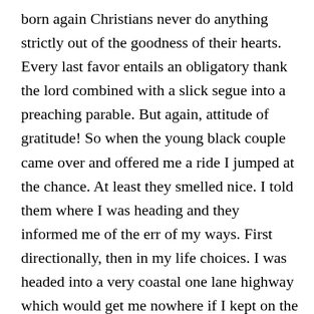born again Christians never do anything strictly out of the goodness of their hearts. Every last favor entails an obligatory thank the lord combined with a slick segue into a preaching parable. But again, attitude of gratitude! So when the young black couple came over and offered me a ride I jumped at the chance. At least they smelled nice. I told them where I was heading and they informed me of the err of my ways. First directionally, then in my life choices. I was headed into a very coastal one lane highway which would get me nowhere if I kept on the way I was and a very downward spiral which already is nowhere if I didn't find the Lord. Apparently he's not on that coastal highway and thankfully neither would I be. The couple gave me a ride all the way to Interstate 95 and left me at